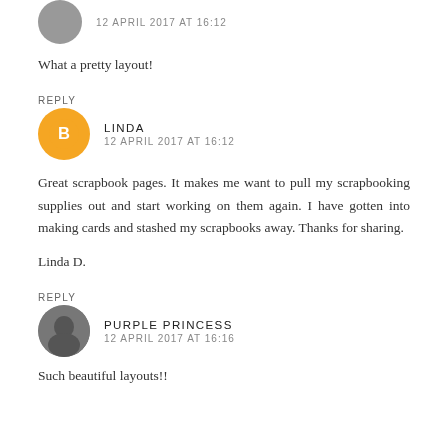[Figure (photo): Small circular avatar photo of a person, partially visible at top]
12 APRIL 2017 AT 16:12
What a pretty layout!
REPLY
[Figure (logo): Orange circle with white Blogger 'B' icon — commenter avatar for Linda]
LINDA
12 APRIL 2017 AT 16:12
Great scrapbook pages. It makes me want to pull my scrapbooking supplies out and start working on them again. I have gotten into making cards and stashed my scrapbooks away. Thanks for sharing.

Linda D.
REPLY
[Figure (photo): Small circular black-and-white avatar photo of a person — commenter avatar for Purple Princess]
PURPLE PRINCESS
12 APRIL 2017 AT 16:16
Such beautiful layouts!!